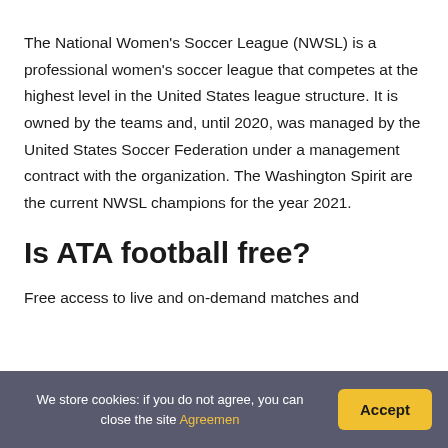The National Women's Soccer League (NWSL) is a professional women's soccer league that competes at the highest level in the United States league structure. It is owned by the teams and, until 2020, was managed by the United States Soccer Federation under a management contract with the organization. The Washington Spirit are the current NWSL champions for the year 2021.
Is ATA football free?
Free access to live and on-demand matches and
We store cookies: if you do not agree, you can close the site Agreemen